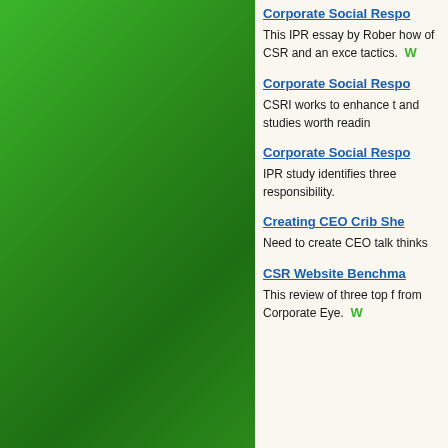[Figure (illustration): Green gradient decorative panel on the left side of the page]
Corporate Social Respo...
This IPR essay by Rober... how of CSR and an exce... tactics. W
Corporate Social Respo...
CSRI works to enhance t... and studies worth readin...
Corporate Social Respo...
IPR study identifies three... responsibility.
Creating CEO Crib She...
Need to create CEO talk... thinks
CSR Website Benchma...
This review of three top f... from Corporate Eye. W